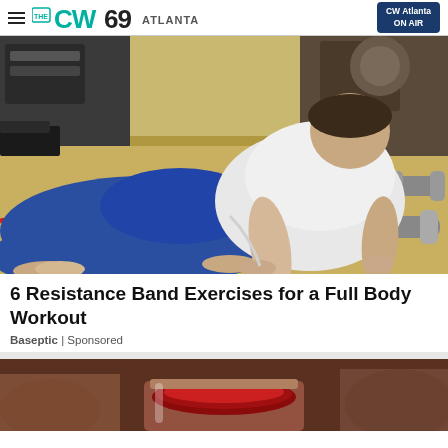THE CW69 ATLANTA | CW Atlanta ON AIR
[Figure (photo): Woman in blue leggings doing a plank/push-up exercise on a yellow gym mat with a red resistance band around her ankles. Dumbbells visible in the background.]
6 Resistance Band Exercises for a Full Body Workout
Baseptic | Sponsored
[Figure (photo): Close-up of a glass jar filled with dark red jam or preserves, with blurred food items in the background.]